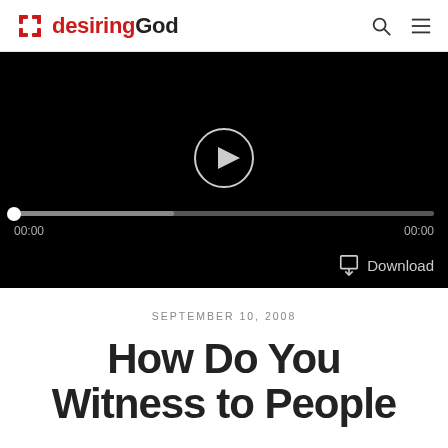desiringGod
[Figure (screenshot): Audio/video media player with black background, play button circle, progress bar with knob, timestamps 00:00 on left and right, and Download button with icon in lower right.]
SEPTEMBER 10, 2008
How Do You Witness to People